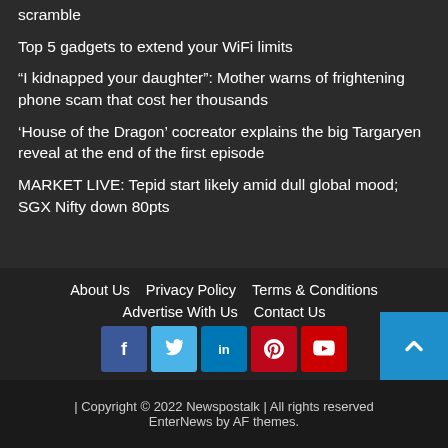scramble
Top 5 gadgets to extend your WiFi limits
“I kidnapped your daughter”: Mother warns of frightening phone scam that cost her thousands
‘House of the Dragon’ cocreator explains the big Targaryen reveal at the end of the first episode
MARKET LIVE: Tepid start likely amid dull global mood; SGX Nifty down 80pts
About Us   Privacy Policy   Terms & Conditions   Advertise With Us   Contact Us
| Copyright © 2022 Newspostalk | All rights reserved EnterNews by AF themes.